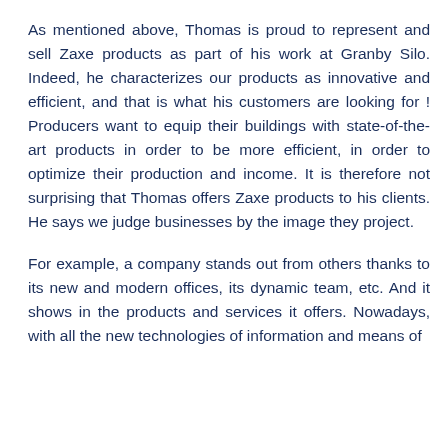As mentioned above, Thomas is proud to represent and sell Zaxe products as part of his work at Granby Silo. Indeed, he characterizes our products as innovative and efficient, and that is what his customers are looking for ! Producers want to equip their buildings with state-of-the-art products in order to be more efficient, in order to optimize their production and income. It is therefore not surprising that Thomas offers Zaxe products to his clients. He says we judge businesses by the image they project.
For example, a company stands out from others thanks to its new and modern offices, its dynamic team, etc. And it shows in the products and services it offers. Nowadays, with all the new technologies of information and means of